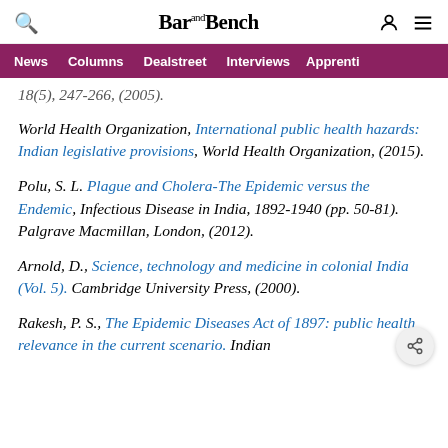Bar and Bench
News | Columns | Dealstreet | Interviews | Apprenti
18(5), 247-266, (2005).
World Health Organization, International public health hazards: Indian legislative provisions, World Health Organization, (2015).
Polu, S. L. Plague and Cholera-The Epidemic versus the Endemic, Infectious Disease in India, 1892-1940 (pp. 50-81). Palgrave Macmillan, London, (2012).
Arnold, D., Science, technology and medicine in colonial India (Vol. 5). Cambridge University Press, (2000).
Rakesh, P. S., The Epidemic Diseases Act of 1897: public health relevance in the current scenario. Indian